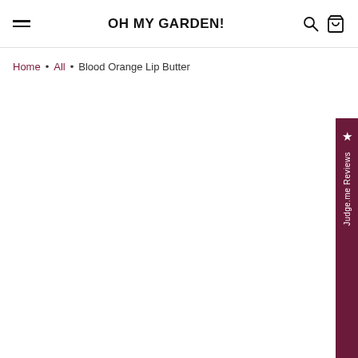OH MY GARDEN!
Home • All • Blood Orange Lip Butter
[Figure (other): Judge.me Reviews vertical sidebar tab with star icon]